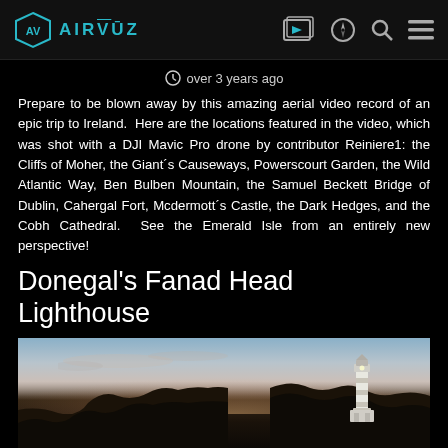AIRVŪZ [navigation icons: video, compass, search, menu]
over 3 years ago
Prepare to be blown away by this amazing aerial video record of an epic trip to Ireland.  Here are the locations featured in the video, which was shot with a DJI Mavic Pro drone by contributor Reiniere1: the Cliffs of Moher, the Giant´s Causeways, Powerscourt Garden, the Wild Atlantic Way, Ben Bulben Mountain, the Samuel Beckett Bridge of Dublin, Cahergal Fort, Mcdermott´s Castle, the Dark Hedges, and the Cobh Cathedral.  See the Emerald Isle from an entirely new perspective!
Donegal's Fanad Head Lighthouse
[Figure (photo): Aerial twilight photo of Fanad Head Lighthouse in Donegal, Ireland. A white lighthouse tower visible on a rocky cliff to the right, silhouetted dark cliffs in the foreground, pastel pink and blue sunset sky, calm atmospheric scene.]